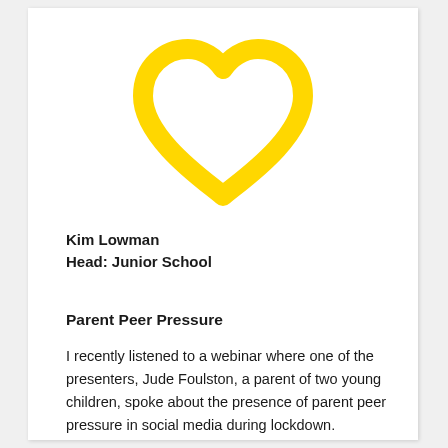[Figure (illustration): Yellow outline heart shape (thick stroke, no fill) centered at top of page]
Kim Lowman
Head: Junior School
Parent Peer Pressure
I recently listened to a webinar where one of the presenters, Jude Foulston, a parent of two young children, spoke about the presence of parent peer pressure in social media during lockdown.